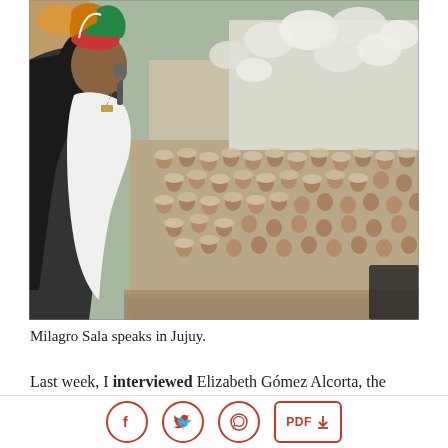[Figure (photo): Milagro Sala speaking at a rally in Jujuy, Argentina. She stands at a podium holding a microphone, wearing a colorful traditional headdress and white shirt with long dark hair. Behind her is a massive crowd of people wearing beige uniforms and caps, with many white flags and banners.]
Milagro Sala speaks in Jujuy.
Last week, I interviewed Elizabeth Gómez Alcorta, the lawyer of Milagro Sala. Sala, an indigenous Argentinian woman, was arrested
f  t  WhatsApp  PDF ↓